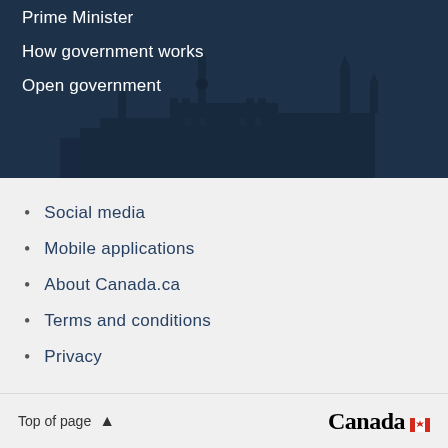[Figure (illustration): Dark navy blue hero banner with silhouette skyline of Ottawa Parliament buildings in the background]
Prime Minister
How government works
Open government
Social media
Mobile applications
About Canada.ca
Terms and conditions
Privacy
Top of page ∧  Canada